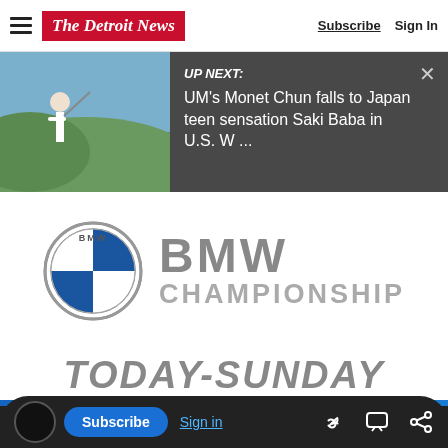The Detroit News | Subscribe | Sign In
[Figure (screenshot): Up next banner with golf photo thumbnail and headline: UM's Monet Chun falls to Japan teen sensation Saki Baba in U.S. W ...]
[Figure (logo): BMW Championship logo — BMW roundel and text BMW CHAMPIONSHIP]
TODAY-SUNDAY
This article is free to the community.
$1 for 6 Months.
Subscribe now
Subscribe | Sign in